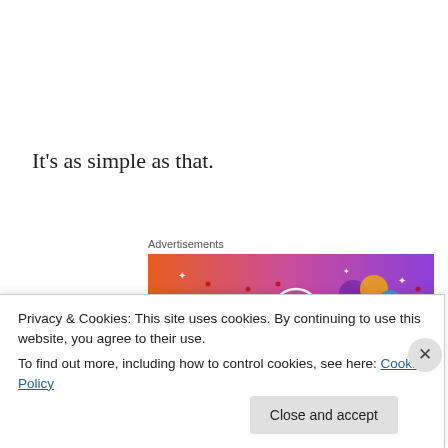It's as simple as that.
Advertisements
[Figure (illustration): Colorful advertisement banner for 'Fandom on Tumblr' with orange-to-purple gradient background, white doodle icons (skull, music notes, hearts, dice, stars), a cartoon sailboat sticker, and large bold text reading 'FANDOM ON' with partial text below.]
Privacy & Cookies: This site uses cookies. By continuing to use this website, you agree to their use.
To find out more, including how to control cookies, see here: Cookie Policy